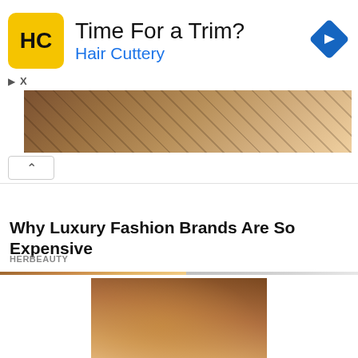[Figure (screenshot): Hair Cuttery advertisement banner with logo, headline 'Time For a Trim?', subline 'Hair Cuttery', and a navigation/direction icon]
[Figure (photo): Luxury fashion pattern image strip (Louis Vuitton-style monogram print)]
Why Luxury Fashion Brands Are So Expensive
HERBEAUTY
[Figure (photo): Sponsored content banner image of a woman with flowing hair, partially blurred on right side, with X close button]
SPONSORED CONTENT mgid
[Figure (photo): Sponsored content thumbnail image of a couple in an intimate scene]
She Teaches Him How To Shed His Too-organized Vibe